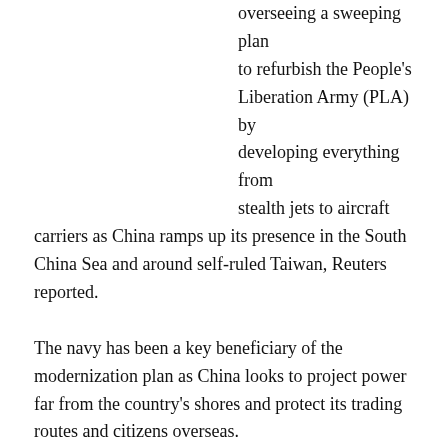overseeing a sweeping plan to refurbish the People's Liberation Army (PLA) by developing everything from stealth jets to aircraft carriers as China ramps up its presence in the South China Sea and around self-ruled Taiwan, Reuters reported.
The navy has been a key beneficiary of the modernization plan as China looks to project power far from the country's shores and protect its trading routes and citizens overseas.
Last month, Beijing unveiled a target of 7.5 percent rise in defense spending for this year, a slower rate than last year but still outpacing China's economic growth target.
Deputy naval commander Qiu Yanpeng told reporters in the eastern city of Qingdao that Tuesday's naval parade – likely to